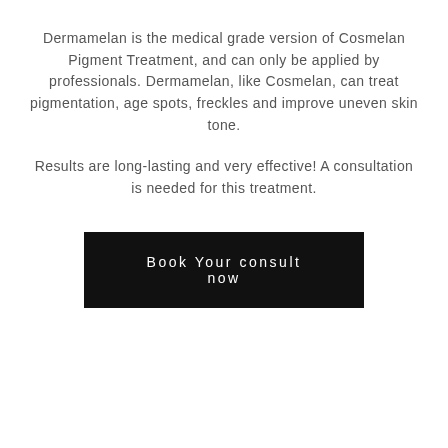Dermamelan is the medical grade version of Cosmelan Pigment Treatment, and can only be applied by professionals. Dermamelan, like Cosmelan, can treat pigmentation, age spots, freckles and improve uneven skin tone.
Results are long-lasting and very effective! A consultation is needed for this treatment.
Book Your consult now